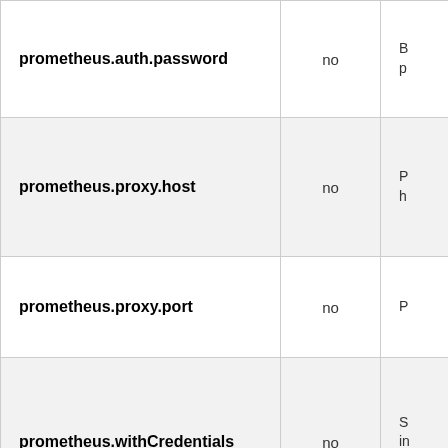| Property | Required | Description |
| --- | --- | --- |
| prometheus.auth.password | no | B p |
| prometheus.proxy.host | no | P h |
| prometheus.proxy.port | no | P |
| prometheus.withCredentials | no | S in r |
| prometheus.timeout | no | P r t n |
|  |  | E |